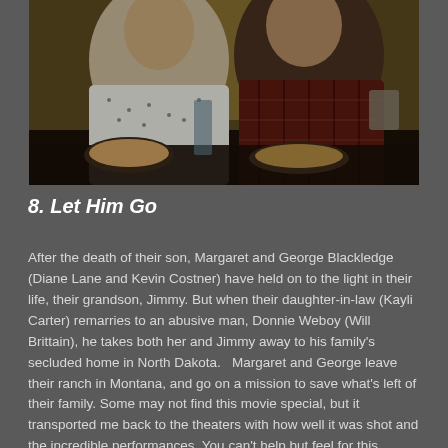[Figure (photo): Two people sitting at a restaurant table eating a meal. The person on the left wears a white patterned shirt, the person on the right wears a dark plaid flannel shirt. Food and drinks are on the table.]
8. Let Him Go
After the death of their son, Margaret and George Blackledge (Diane Lane and Kevin Costner) have held on to the light in their life, their grandson, Jimmy. But when their daughter-in-law (Kayli Carter) remarries to an abusive man, Donnie Weboy (Will Brittain), he takes both her and Jimmy away to his family's secluded home in North Dakota.   Margaret and George leave their ranch in Montana, and go on a mission to save what's left of their family. Some may not find this movie special, but it transported me back to the theaters with how well it was shot and the incredible performances. You can't help but feel for this